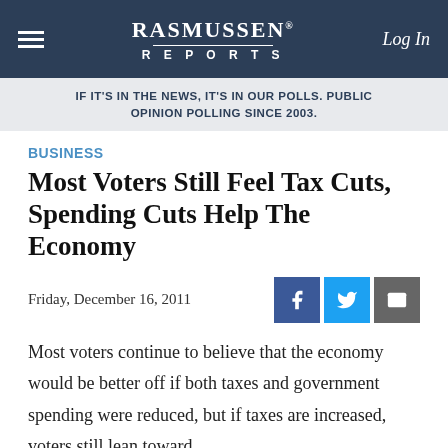RASMUSSEN REPORTS — Log In
IF IT'S IN THE NEWS, IT'S IN OUR POLLS. PUBLIC OPINION POLLING SINCE 2003.
BUSINESS
Most Voters Still Feel Tax Cuts, Spending Cuts Help The Economy
Friday, December 16, 2011
Most voters continue to believe that the economy would be better off if both taxes and government spending were reduced, but if taxes are increased, voters still lean toward